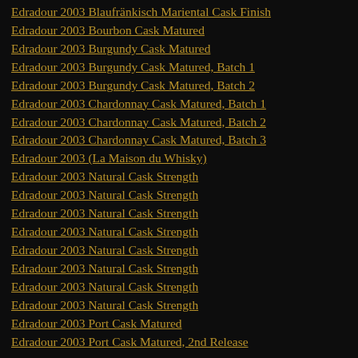Edradour 2003 Blaufränkisch Mariental Cask Finish
Edradour 2003 Bourbon Cask Matured
Edradour 2003 Burgundy Cask Matured
Edradour 2003 Burgundy Cask Matured, Batch 1
Edradour 2003 Burgundy Cask Matured, Batch 2
Edradour 2003 Chardonnay Cask Matured, Batch 1
Edradour 2003 Chardonnay Cask Matured, Batch 2
Edradour 2003 Chardonnay Cask Matured, Batch 3
Edradour 2003 (La Maison du Whisky)
Edradour 2003 Natural Cask Strength
Edradour 2003 Natural Cask Strength
Edradour 2003 Natural Cask Strength
Edradour 2003 Natural Cask Strength
Edradour 2003 Natural Cask Strength
Edradour 2003 Natural Cask Strength
Edradour 2003 Natural Cask Strength
Edradour 2003 Natural Cask Strength
Edradour 2003 Port Cask Matured
Edradour 2003 Port Cask Matured, 2nd Release